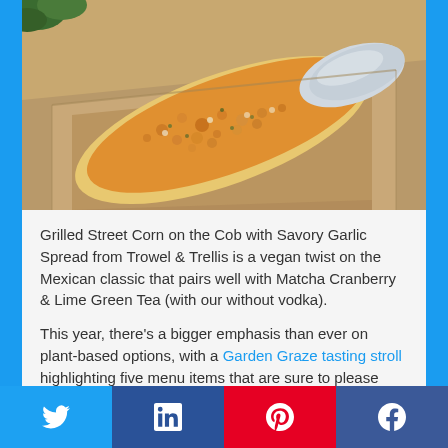[Figure (photo): Grilled Street Corn on the Cob coated with savory orange/yellow seasoning and cheese, wrapped partially in foil, served in a cardboard tray container]
Grilled Street Corn on the Cob with Savory Garlic Spread from Trowel & Trellis is a vegan twist on the Mexican classic that pairs well with Matcha Cranberry & Lime Green Tea (with our without vodka).
This year, there's a bigger emphasis than ever on plant-based options, with a Garden Graze tasting stroll highlighting five menu items that are sure to please vegans and...